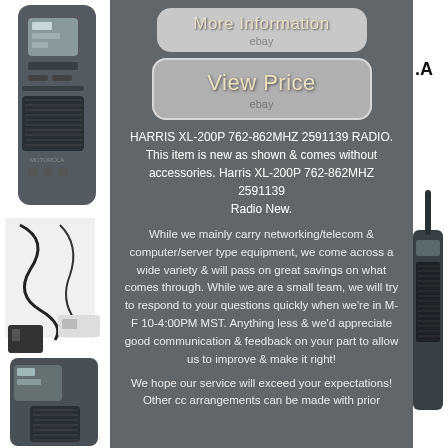[Figure (screenshot): Left side panel showing a Motorola walkie-talkie radio and accessories on white/grey background]
[Figure (screenshot): Button labeled 'More Information' with 'ebay' subtitle on grey rounded rectangle]
[Figure (screenshot): Button labeled 'View Price' with 'ebay' subtitle on grey rounded rectangle]
HARRIS XL-200P 762-862MHZ 2591139 RADIO. This item is new as shown & comes without accessories. Harris XL-200P 762-862MHZ 2591139 Radio New.
While we mainly carry networking/telecom & computer/server type equipment, we come across a wide variety & will pass on great savings on what comes through. While we are a small team, we will try to respond to your questions quickly when we're in M-F 10-4:00PM MST. Anything less & we'd appreciate good communication & feedback on your part to allow us to improve & make it right!
We hope our service will exceed your expectations! Other cc arrangements can be made with prior
[Figure (photo): Right side showing partial text '.A' and a dark radio device on white background]